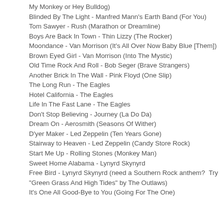My Monkey or Hey Bulldog)
Blinded By The Light - Manfred Mann's Earth Band (For You)
Tom Sawyer - Rush (Marathon or Dreamline)
Boys Are Back In Town - Thin Lizzy (The Rocker)
Moondance - Van Morrison (It's All Over Now Baby Blue [Them])
Brown Eyed Girl - Van Morrison (Into The Mystic)
Old Time Rock And Roll - Bob Seger (Brave Strangers)
Another Brick In The Wall - Pink Floyd (One Slip)
The Long Run - The Eagles
Hotel California - The Eagles
Life In The Fast Lane - The Eagles
Don't Stop Believing - Journey (La Do Da)
Dream On - Aerosmith (Seasons Of Wither)
D'yer Maker - Led Zeppelin (Ten Years Gone)
Stairway to Heaven - Led Zeppelin (Candy Store Rock)
Start Me Up - Rolling Stones (Monkey Man)
Sweet Home Alabama - Lynyrd Skynyrd
Free Bird - Lynyrd Skynyrd (need a Southern Rock anthem? Try "Green Grass And High Tides" by The Outlaws)
It's One All Good-Bye to You (Going For The One)